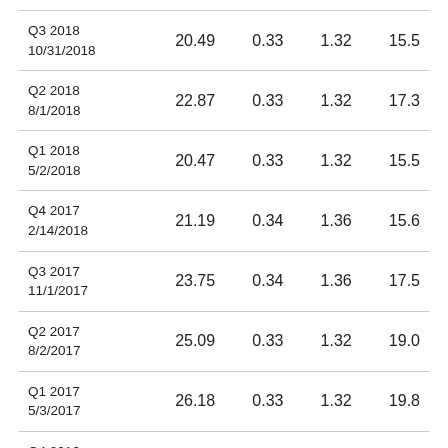| Q3 2018
10/31/2018 | 20.49 | 0.33 | 1.32 | 15.5 |
| Q2 2018
8/1/2018 | 22.87 | 0.33 | 1.32 | 17.3 |
| Q1 2018
5/2/2018 | 20.47 | 0.33 | 1.32 | 15.5 |
| Q4 2017
2/14/2018 | 21.19 | 0.34 | 1.36 | 15.6 |
| Q3 2017
11/1/2017 | 23.75 | 0.34 | 1.36 | 17.5 |
| Q2 2017
8/2/2017 | 25.09 | 0.33 | 1.32 | 19.0 |
| Q1 2017
5/3/2017 | 26.18 | 0.33 | 1.32 | 19.8 |
| Q4 2016
2/16/2017 | 27.36 | 0.33 | 1.32 | 20.7 |